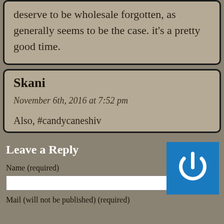deserve to be wholesale forgotten, as generally seems to be the case. it's a pretty good time.
Skani
November 6th, 2016 at 7:52 pm
Also, #candycaneshiv
Leave a Reply
Name (required)
Mail (will not be published) (required)
[Figure (logo): Blue square with white power button icon]